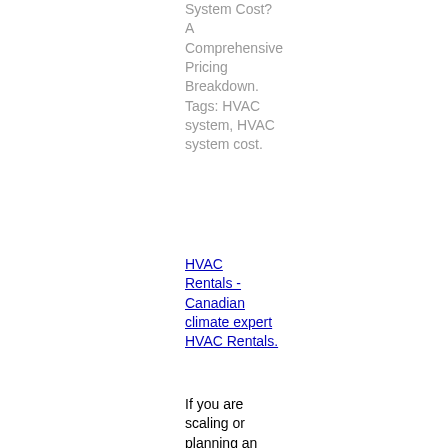System Cost? A Comprehensive Pricing Breakdown. Tags: HVAC system, HVAC system cost.
HVAC Rentals - Canadian climate expert HVAC Rentals.
If you are scaling or planning an event, HVAC Rentals is your specialist in fixed and mobile refrigeration units. We are ready to solve your every refrigerator, walk-in refrigerator, and cold-storage unit needs. Moreover, we cover your ice production needs and help you maintain indoors and outdoors ice